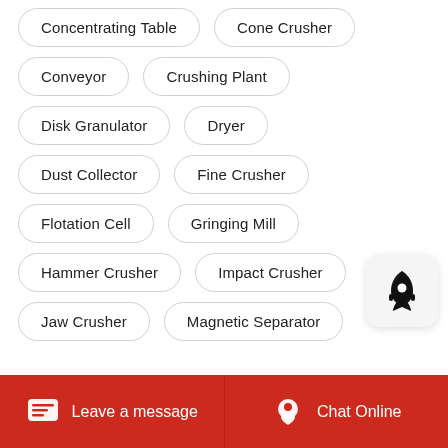Concentrating Table
Cone Crusher
Conveyor
Crushing Plant
Disk Granulator
Dryer
Dust Collector
Fine Crusher
Flotation Cell
Gringing Mill
Hammer Crusher
Impact Crusher
Jaw Crusher
Magnetic Separator
Leave a message   Chat Online